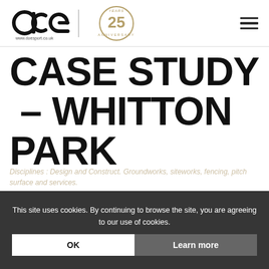[Figure (logo): DOE Sport logo with 'dce' lettering and www.doesport.co.uk, plus 25 Years Anniversary circular badge]
CASE STUDY – WHITTON PARK
Disciplines : Design and Construct. Groundworks, siteworks, fencing, pitch surface and services.
This site uses cookies. By continuing to browse the site, you are agreeing to our use of cookies.